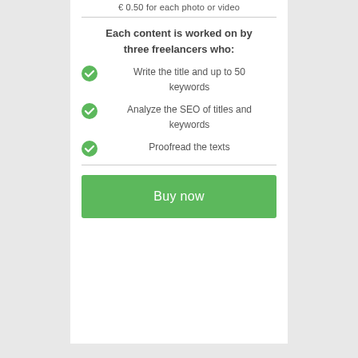€ 0.50 for each photo or video
Each content is worked on by three freelancers who:
Write the title and up to 50 keywords
Analyze the SEO of titles and keywords
Proofread the texts
Buy now